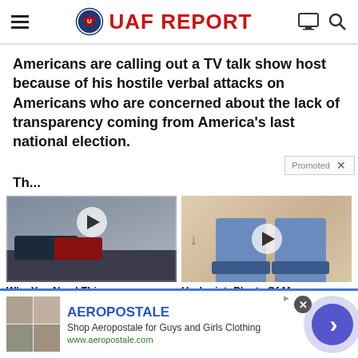UAF REPORT
Americans are calling out a TV talk show host because of his hostile verbal attacks on Americans who are concerned about the lack of transparency coming from America's last national election.
Promoted ×
Th... (partial text cut off)
[Figure (photo): Thumbnail of street/car scene with video play button overlay]
Why You Need This
[Figure (illustration): Illustration of person's legs with video play button overlay]
Urologist: Plenty Of Men
AEROPOSTALE
Shop Aeropostale for Guys and Girls Clothing
www.aeropostale.com